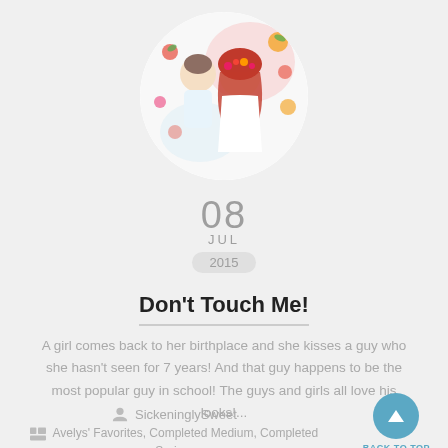[Figure (illustration): Circular manga-style cover image showing a girl with long red hair in a white dress and a boy with brown hair, surrounded by colorful flowers]
08
JUL
2015
Don't Touch Me!
A girl comes back to her birthplace and she kisses a guy who she hasn't seen for 7 years! And that guy happens to be the most popular guy in school! The guys and girls all love his looks!...
SickeninglySweet
Avelys' Favorites, Completed Medium, Completed Series, Favorites, Featured